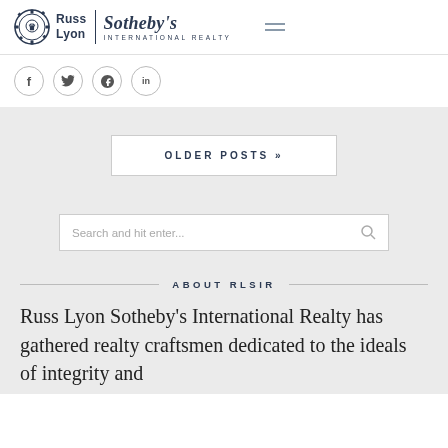Russ Lyon | Sotheby's International Realty
[Figure (logo): Russ Lyon Sotheby's International Realty logo with gear/lion emblem]
f  (twitter)  (pinterest)  in
OLDER POSTS »
Search and hit enter...
ABOUT RLSIR
Russ Lyon Sotheby's International Realty has gathered realty craftsmen dedicated to the ideals of integrity and